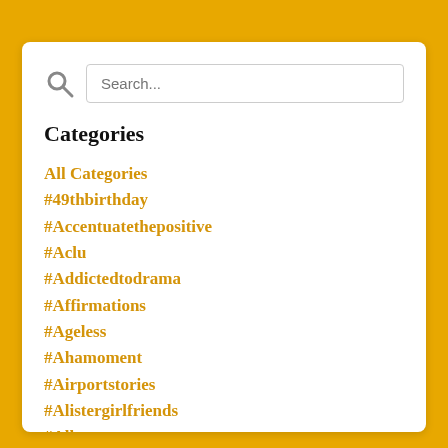[Figure (screenshot): Search bar with magnifying glass icon and placeholder text 'Search...']
Categories
All Categories
#49thbirthday
#Accentuatethepositive
#Aclu
#Addictedtodrama
#Affirmations
#Ageless
#Ahamoment
#Airportstories
#Alistergirlfriends
#Allow